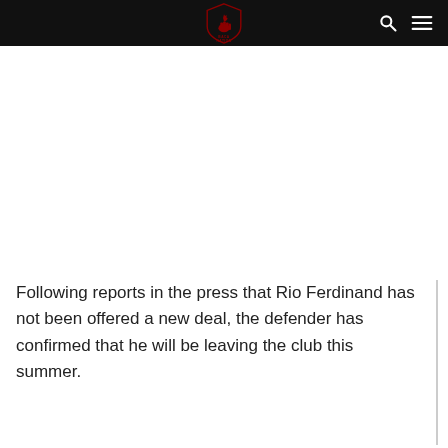BACA NATION [logo with search and menu icons]
Following reports in the press that Rio Ferdinand has not been offered a new deal, the defender has confirmed that he will be leaving the club this summer.